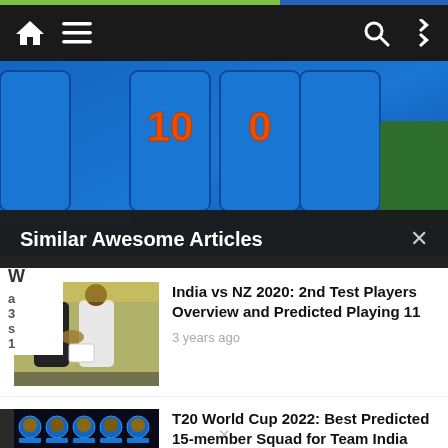[Figure (screenshot): Navigation bar with home icon, hamburger menu, search and shuffle icons on dark background]
[Figure (photo): Cricket players in blue Indian team jerseys, showing torsos with jersey numbers]
Similar Awesome Articles
[Figure (photo): Two cricket players shaking hands at the toss, one in dark blazer and one in white]
India vs NZ 2020: 2nd Test Players Overview and Predicted Playing 11
3 years ago
[Figure (photo): Grid of Indian cricket team player portraits for T20 World Cup 2022 squad]
T20 World Cup 2022: Best Predicted 15-member Squad for Team India
2 days ago